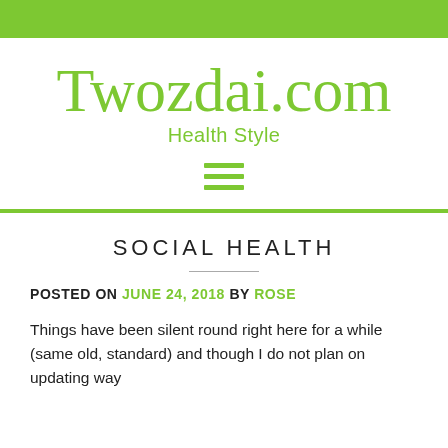Twozdai.com
Health Style
[Figure (other): Hamburger menu icon with three green horizontal bars]
SOCIAL HEALTH
POSTED ON JUNE 24, 2018 BY ROSE
Things have been silent round right here for a while (same old, standard) and though I do not plan on updating way